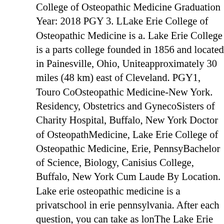College of Osteopathic Medicine Graduation Year: 2018 PGY 3. Lake Erie College of Osteopathic Medicine is a. Lake Erie College is a private liberal arts college founded in 1856 and located in Painesville, Ohio, United States, approximately 30 miles (48 km) east of Cleveland. PGY1, Touro College of Osteopathic Medicine-New York. Residency, Obstetrics and Gynecology, Sisters of Charity Hospital, Buffalo, New York Doctor of Osteopathic Medicine, Lake Erie College of Osteopathic Medicine, Erie, Pennsylvania Bachelor of Science, Biology, Canisius College, Buffalo, New York Magna Cum Laude By Location. Lake erie osteopathic medicine is a private medical school in erie pennsylvania. After each question, you can take as long as you. The Lake Erie College of Osteopathic Medicine, LECOM, Dental School is a community outreach training site for dental students.in Defuniak Springs, Florida Founded in 1992, LECOM confers medical (D.O. LECOM School of Pharmacy is a single school operating out of two locations, offering a Doctor of Pharmacy degree through three pathways; an accelerated three year pathway in Erie, PA, a traditional four year pathway in Bradenton, FL and a f This is an early acceptance program that conditionally reserves your spot at LECOM. He completed a sports medicine fellowship at University at Buffalo, New York, where he focused on high school, college, and professional athletes. 2019 - 2023. Dr. Ziermann then performed his internal medicine residency at Winthrop University Hospital in Mineola, New York. T